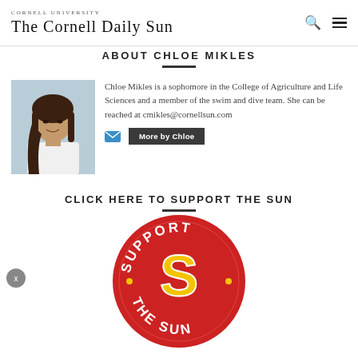The Cornell Daily Sun
ABOUT CHLOE MIKLES
[Figure (photo): Portrait photo of Chloe Mikles, a young woman with long dark hair wearing a white top]
Chloe Mikles is a sophomore in the College of Agriculture and Life Sciences and a member of the swim and dive team. She can be reached at cmikles@cornellsun.com
CLICK HERE TO SUPPORT THE SUN
[Figure (logo): Support The Sun circular logo — red circle with yellow 'S' and text 'SUPPORT THE SUN']